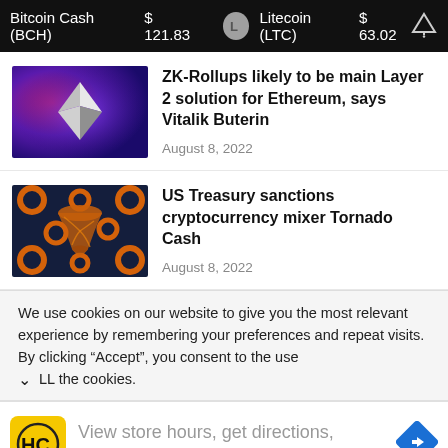Bitcoin Cash (BCH)  $ 121.83    Litecoin (LTC)  $ 63.02
ZK-Rollups likely to be main Layer 2 solution for Ethereum, says Vitalik Buterin
August 8, 2022
US Treasury sanctions cryptocurrency mixer Tornado Cash
August 8, 2022
We use cookies on our website to give you the most relevant experience by remembering your preferences and repeat visits. By clicking “Accept”, you consent to the use LL the cookies.
View store hours, get directions, or call your salon!